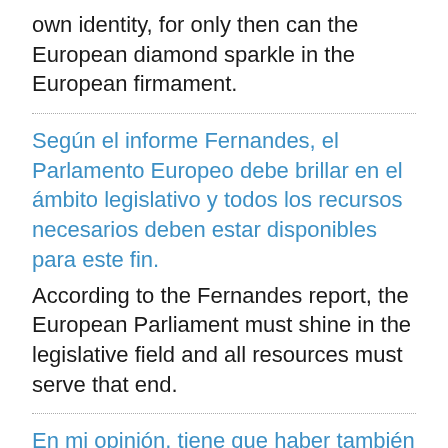own identity, for only then can the European diamond sparkle in the European firmament.
Según el informe Fernandes, el Parlamento Europeo debe brillar en el ámbito legislativo y todos los recursos necesarios deben estar disponibles para este fin.
According to the Fernandes report, the European Parliament must shine in the legislative field and all resources must serve that end.
En mi opinión, tiene que haber también una segunda prioridad, concretamente, que el Parlamento también ha de brillar en el ámbito de la disciplina presupuestaria.
For me, there has to be a second priority here,